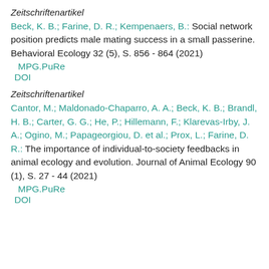Zeitschriftenartikel
Beck, K. B.; Farine, D. R.; Kempenaers, B.: Social network position predicts male mating success in a small passerine. Behavioral Ecology 32 (5), S. 856 - 864 (2021)
MPG.PuRe
DOI
Zeitschriftenartikel
Cantor, M.; Maldonado-Chaparro, A. A.; Beck, K. B.; Brandl, H. B.; Carter, G. G.; He, P.; Hillemann, F.; Klarevas-Irby, J. A.; Ogino, M.; Papageorgiou, D. et al.; Prox, L.; Farine, D. R.: The importance of individual-to-society feedbacks in animal ecology and evolution. Journal of Animal Ecology 90 (1), S. 27 - 44 (2021)
MPG.PuRe
DOI